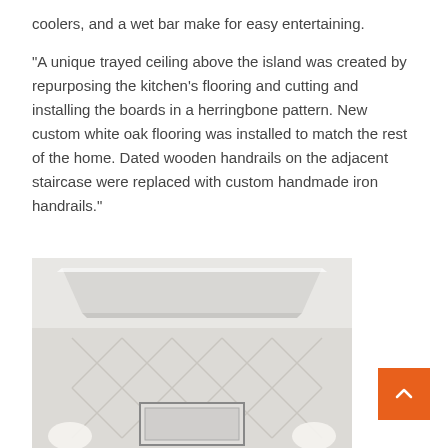coolers, and a wet bar make for easy entertaining.
“A unique trayed ceiling above the island was created by repurposing the kitchen’s flooring and cutting and installing the boards in a herringbone pattern. New custom white oak flooring was installed to match the rest of the home. Dated wooden handrails on the adjacent staircase were replaced with custom handmade iron handrails.”
[Figure (photo): Interior photo showing a trayed ceiling with white molding above a herringbone-patterned marble wall with two white lamp fixtures and a framed mirror or artwork below]